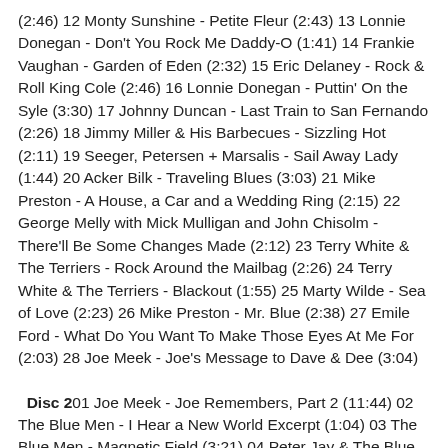(2:46) 12 Monty Sunshine - Petite Fleur (2:43) 13 Lonnie Donegan - Don't You Rock Me Daddy-O (1:41) 14 Frankie Vaughan - Garden of Eden (2:32) 15 Eric Delaney - Rock & Roll King Cole (2:46) 16 Lonnie Donegan - Puttin' On the Syle (3:30) 17 Johnny Duncan - Last Train to San Fernando (2:26) 18 Jimmy Miller & His Barbecues - Sizzling Hot (2:11) 19 Seeger, Petersen + Marsalis - Sail Away Lady (1:44) 20 Acker Bilk - Traveling Blues (3:03) 21 Mike Preston - A House, a Car and a Wedding Ring (2:15) 22 George Melly with Mick Mulligan and John Chisolm - There'll Be Some Changes Made (2:12) 23 Terry White & The Terriers - Rock Around the Mailbag (2:26) 24 Terry White & The Terriers - Blackout (1:55) 25 Marty Wilde - Sea of Love (2:23) 26 Mike Preston - Mr. Blue (2:38) 27 Emile Ford - What Do You Want To Make Those Eyes At Me For (2:03) 28 Joe Meek - Joe's Message to Dave & Dee (3:04)
Disc 2 01 Joe Meek - Joe Remembers, Part 2 (11:44) 02 The Blue Men - I Hear a New World Excerpt (1:04) 03 The Blue Men - Magnetic Field (3:21) 04 Peter Jay & The Blue Men - Just Too Late (1:37) 05 Joe Meek - It's a Triumph (Radio Luxembourg) (0:36) 06 George Chakiris - Heart of a